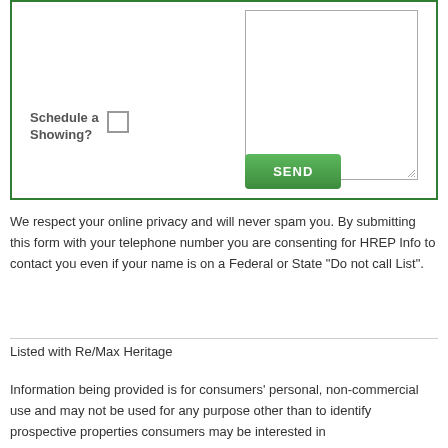[Figure (screenshot): A web form section showing a textarea input, a 'Schedule a Showing?' checkbox, and a green SEND button, all within a green-bordered box.]
We respect your online privacy and will never spam you. By submitting this form with your telephone number you are consenting for HREP Info to contact you even if your name is on a Federal or State "Do not call List".
Listed with Re/Max Heritage
Information being provided is for consumers' personal, non-commercial use and may not be used for any purpose other than to identify prospective properties consumers may be interested in